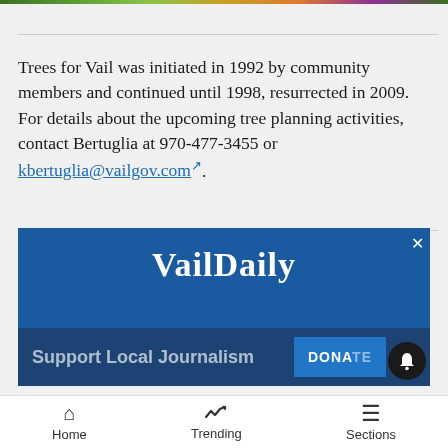[Figure (photo): Colorful flower/garden image strip at top of page]
Trees for Vail was initiated in 1992 by community members and continued until 1998, resurrected in 2009. For details about the upcoming tree planning activities, contact Bertuglia at 970-477-3455 or kbertuglia@vailgov.com.
[Figure (screenshot): VailDaily advertisement banner with 'Support Local Journalism' and DONATE button, plus notification bell icon and close button]
Home   Trending   Sections